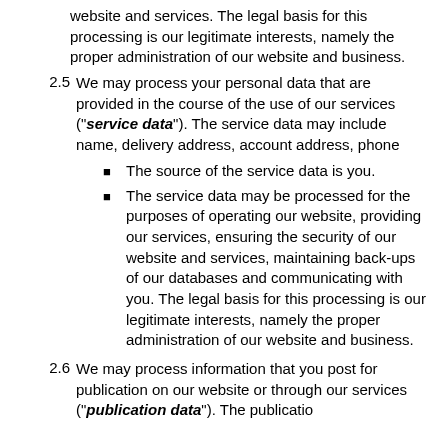website and services. The legal basis for this processing is our legitimate interests, namely the proper administration of our website and business.
2.5  We may process your personal data that are provided in the course of the use of our services ("service data"). The service data may include name, delivery address, account address, phone
The source of the service data is you.
The service data may be processed for the purposes of operating our website, providing our services, ensuring the security of our website and services, maintaining back-ups of our databases and communicating with you. The legal basis for this processing is our legitimate interests, namely the proper administration of our website and business.
2.6  We may process information that you post for publication on our website or through our services ("publication data"). The publication...